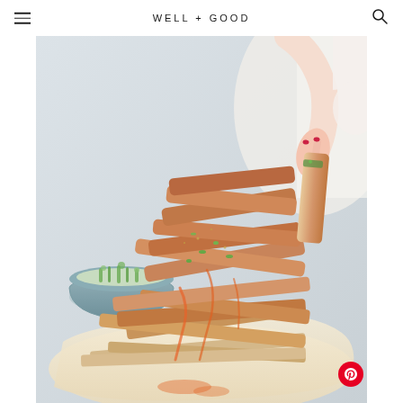WELL + GOOD
[Figure (photo): Hand picking up a tofu fry strip from a pile of baked tofu fries on parchment paper on a wooden board, garnished with green onions and drizzled with orange sauce, with a small bowl of chopped green onions in the background. A hand with red nail polish holds one tofu fry up. Well+Good food photography.]